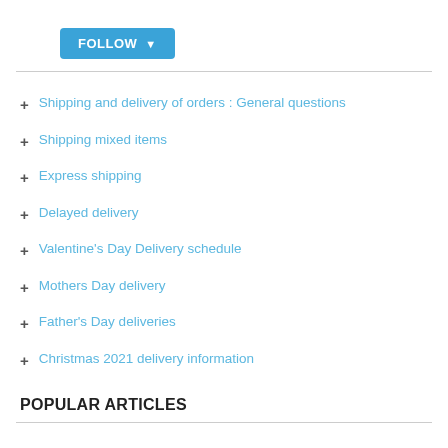FOLLOW
Shipping and delivery of orders : General questions
Shipping mixed items
Express shipping
Delayed delivery
Valentine's Day Delivery schedule
Mothers Day delivery
Father's Day deliveries
Christmas 2021 delivery information
POPULAR ARTICLES